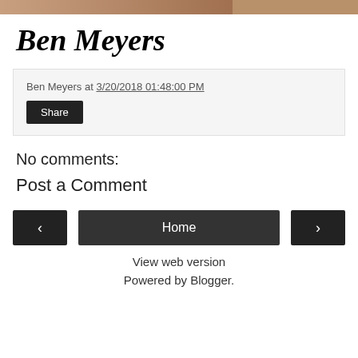[Figure (photo): Partial photo strip at top of page, cropped image of person]
Ben Meyers
Ben Meyers at 3/20/2018 01:48:00 PM
Share
No comments:
Post a Comment
Home
View web version
Powered by Blogger.